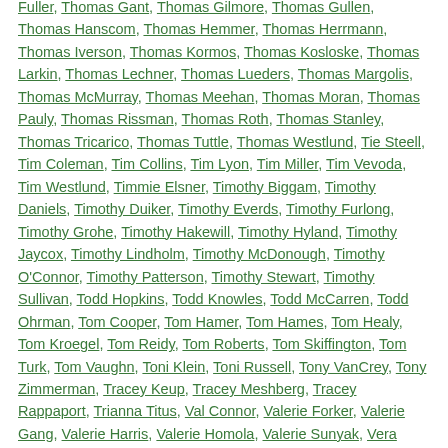Fuller, Thomas Gant, Thomas Gilmore, Thomas Gullen, Thomas Hanscom, Thomas Hemmer, Thomas Herrmann, Thomas Iverson, Thomas Kormos, Thomas Kosloske, Thomas Larkin, Thomas Lechner, Thomas Lueders, Thomas Margolis, Thomas McMurray, Thomas Meehan, Thomas Moran, Thomas Pauly, Thomas Rissman, Thomas Roth, Thomas Stanley, Thomas Tricarico, Thomas Tuttle, Thomas Westlund, Tie Steell, Tim Coleman, Tim Collins, Tim Lyon, Tim Miller, Tim Vevoda, Tim Westlund, Timmie Elsner, Timothy Biggam, Timothy Daniels, Timothy Duiker, Timothy Everds, Timothy Furlong, Timothy Grohe, Timothy Hakewill, Timothy Hyland, Timothy Jaycox, Timothy Lindholm, Timothy McDonough, Timothy O'Connor, Timothy Patterson, Timothy Stewart, Timothy Sullivan, Todd Hopkins, Todd Knowles, Todd McCarren, Todd Ohrman, Tom Cooper, Tom Hamer, Tom Hames, Tom Healy, Tom Kroegel, Tom Reidy, Tom Roberts, Tom Skiffington, Tom Turk, Tom Vaughn, Toni Klein, Toni Russell, Tony VanCrey, Tony Zimmerman, Tracey Keup, Tracey Meshberg, Tracey Rappaport, Trianna Titus, Val Connor, Valerie Forker, Valerie Gang, Valerie Harris, Valerie Homola, Valerie Sunyak, Vera Schiffels, Vicki D...